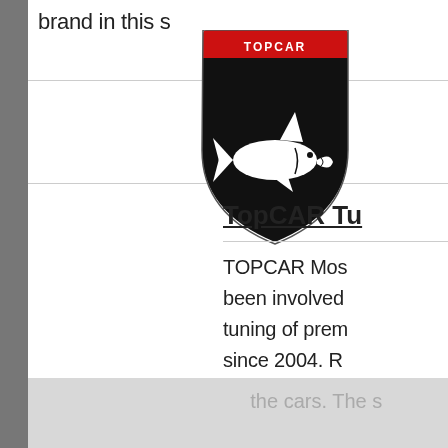brand in this s
[Figure (logo): TopCAR Tuning company shield logo with red banner reading TOPCAR at top, black shield with white shark/fish design below]
TopCAR Tu
TOPCAR Mos been involved tuning of prem since 2004. R the start the a TOPCAR have aimed at creat own original d
the cars. The s